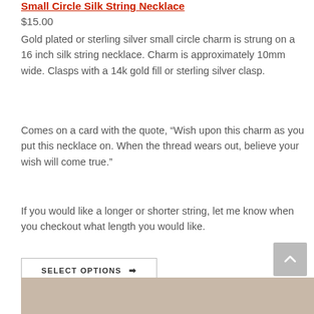Small Circle Silk String Necklace
$15.00
Gold plated or sterling silver small circle charm is strung on a 16 inch silk string necklace. Charm is approximately 10mm wide. Clasps with a 14k gold fill or sterling silver clasp.
Comes on a card with the quote, “Wish upon this charm as you put this necklace on. When the thread wears out, believe your wish will come true.”
If you would like a longer or shorter string, let me know when you checkout what length you would like.
SELECT OPTIONS →
[Figure (photo): Bottom strip showing a necklace on a tan/beige background]